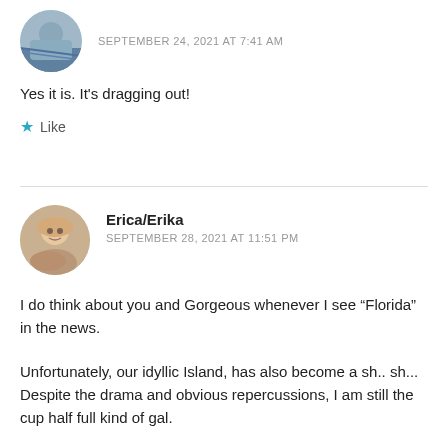[Figure (photo): Circular avatar photo of a person outdoors near water]
Betty
SEPTEMBER 24, 2021 AT 7:41 AM
Yes it is. It's dragging out!
★ Like
[Figure (photo): Circular avatar photo of a smiling blonde woman]
Erica/Erika
SEPTEMBER 28, 2021 AT 11:51 PM
I do think about you and Gorgeous whenever I see “Florida” in the news.
Unfortunately, our idyllic Island, has also become a sh.. sh... Despite the drama and obvious repercussions, I am still the cup half full kind of gal.